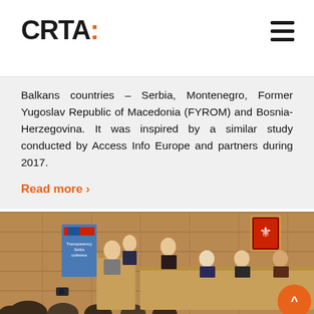CRTA:
Balkans countries – Serbia, Montenegro, Former Yugoslav Republic of Macedonia (FYROM) and Bosnia-Herzegovina. It was inspired by a similar study conducted by Access Info Europe and partners during 2017.
Read more >
[Figure (photo): Conference room with wooden paneling, people seated at a panel table, a podium with speaker, audience in foreground, Serbian coat of arms on wall.]